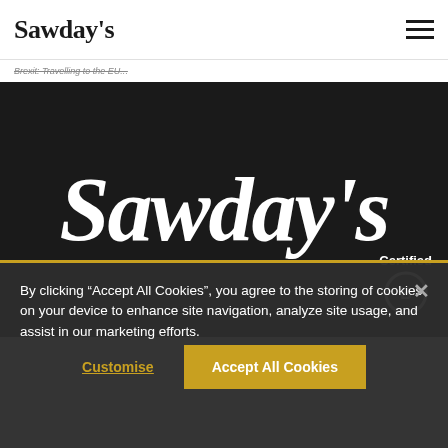Sawday's
Brexit: Travelling to the EU...
[Figure (logo): Large Sawday's logo in white italic script on dark background, with 'Certified' badge in bottom right]
By clicking “Accept All Cookies”, you agree to the storing of cookies on your device to enhance site navigation, analyze site usage, and assist in our marketing efforts.
Customise
Accept All Cookies